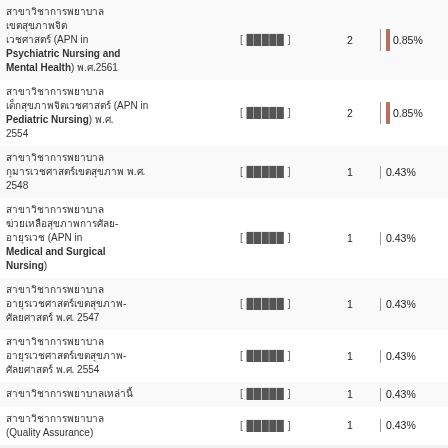| Program | Source | Count | Percentage |
| --- | --- | --- | --- |
| APN in Psychiatric Nursing and Mental Health (พ.ศ.2561) | [ อ้างอิง ] | 2 | 0.85% |
| APN in Pediatric Nursing (พ.ศ.2554) | [ อ้างอิง ] | 2 | 0.85% |
| (พ.ศ.2548) | [ อ้างอิง ] | 1 | 0.43% |
| APN in Medical and Surgical Nursing | [ อ้างอิง ] | 1 | 0.43% |
| (พ.ศ.2547) | [ อ้างอิง ] | 1 | 0.43% |
| (พ.ศ.2554) | [ อ้างอิง ] | 1 | 0.43% |
| (Thai text program) | [ อ้างอิง ] | 1 | 0.43% |
| Quality Assurance | [ อ้างอิง ] | 1 | 0.43% |